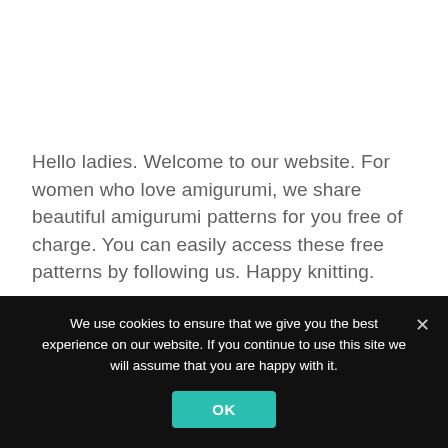Hello ladies. Welcome to our website. For women who love amigurumi, we share beautiful amigurumi patterns for you free of charge. You can easily access these free patterns by following us. Happy knitting.
ABBREVIATIONS:
We use cookies to ensure that we give you the best experience on our website. If you continue to use this site we will assume that you are happy with it.